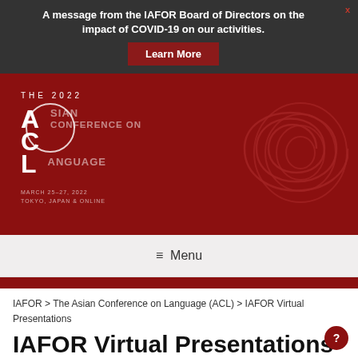A message from the IAFOR Board of Directors on the impact of COVID-19 on our activities. Learn More
[Figure (logo): The 2022 Asian Conference on Language (ACL) banner — dark red background with ACL logo letters, conference name, dates March 25-27, 2022, Tokyo Japan & Online, and decorative spiral graphic on the right]
≡ Menu
IAFOR > The Asian Conference on Language (ACL) > IAFOR Virtual Presentations
IAFOR Virtual Presentations